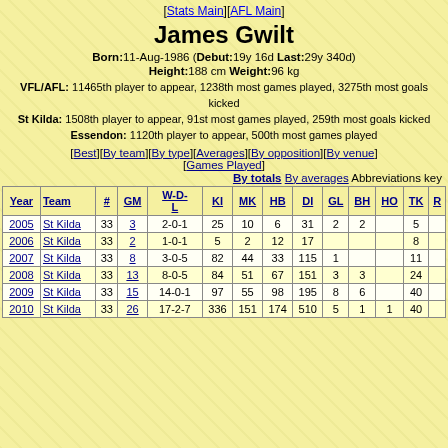[Stats Main][AFL Main]
James Gwilt
Born: 11-Aug-1986 (Debut: 19y 16d Last: 29y 340d)
Height: 188 cm Weight: 96 kg
VFL/AFL: 11465th player to appear, 1238th most games played, 3275th most goals kicked
St Kilda: 1508th player to appear, 91st most games played, 259th most goals kicked
Essendon: 1120th player to appear, 500th most games played
[Best][By team][By type][Averages][By opposition][By venue]
[Games Played]
By totals By averages Abbreviations key
| Year | Team | # | GM | W-D-L | KI | MK | HB | DI | GL | BH | HO | TK | ... |
| --- | --- | --- | --- | --- | --- | --- | --- | --- | --- | --- | --- | --- | --- |
| 2005 | St Kilda | 33 | 3 | 2-0-1 | 25 | 10 | 6 | 31 | 2 | 2 |  | 5 |  |
| 2006 | St Kilda | 33 | 2 | 1-0-1 | 5 | 2 | 12 | 17 |  |  |  | 8 |  |
| 2007 | St Kilda | 33 | 8 | 3-0-5 | 82 | 44 | 33 | 115 | 1 |  |  | 11 |  |
| 2008 | St Kilda | 33 | 13 | 8-0-5 | 84 | 51 | 67 | 151 | 3 | 3 |  | 24 |  |
| 2009 | St Kilda | 33 | 15 | 14-0-1 | 97 | 55 | 98 | 195 | 8 | 6 |  | 40 |  |
| 2010 | St Kilda | 33 | 26 | 17-2-7 | 336 | 151 | 174 | 510 | 5 | 1 | 1 | 40 |  |